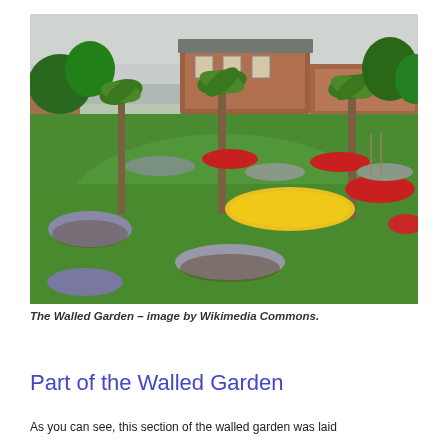[Figure (photo): A walled garden with lush green lawn, colourful flower beds including yellow and red flowers, palm trees, and a brick building visible in the background under an overcast sky.]
The Walled Garden – image by Wikimedia Commons.
Part of the Walled Garden
As you can see, this section of the walled garden was laid